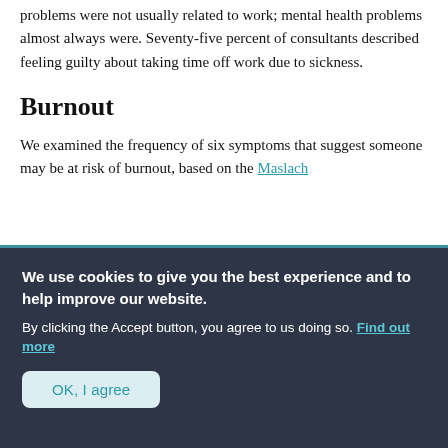problems were not usually related to work; mental health problems almost always were. Seventy-five percent of consultants described feeling guilty about taking time off work due to sickness.
Burnout
We examined the frequency of six symptoms that suggest someone may be at risk of burnout, based on the Maslach
We use cookies to give you the best experience and to help improve our website.
By clicking the Accept button, you agree to us doing so. Find out more
OK, I agree